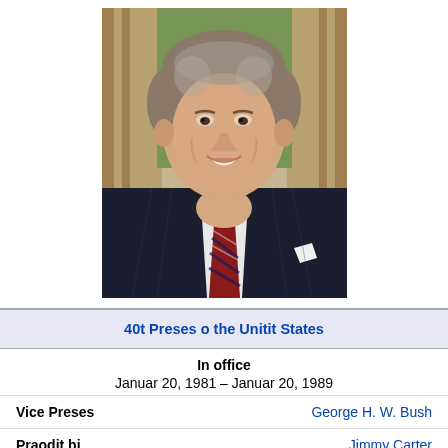[Figure (photo): Official portrait photo of Ronald Reagan, smiling, wearing a dark pinstripe suit with a red and navy striped tie, white pocket square, set against a background with curtains and greenery.]
| 40t Preses o the Unitit States |
| In office |  |
| Januar 20, 1981 – Januar 20, 1989 |  |
| Vice Preses | George H. W. Bush |
| Praodit bi | Jimmy Carter |